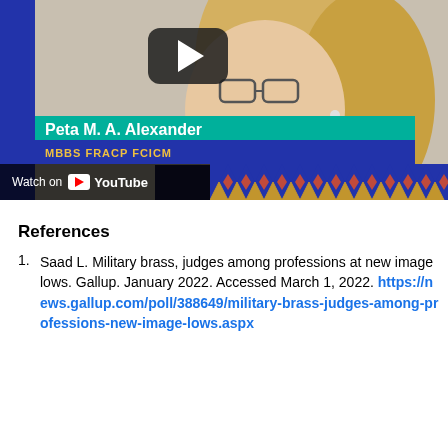[Figure (screenshot): YouTube video thumbnail showing Peta M. A. Alexander, MBBS FRACP FCICM, with a play button overlay and 'Watch on YouTube' bar at the bottom, and a decorative diamond pattern border.]
References
Saad L. Military brass, judges among professions at new image lows. Gallup. January 2022. Accessed March 1, 2022. https://news.gallup.com/poll/388649/military-brass-judges-among-professions-new-image-lows.aspx